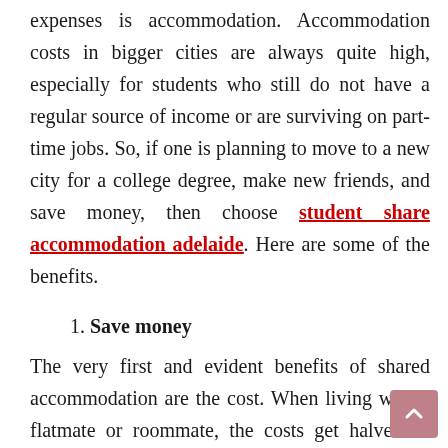expenses is accommodation. Accommodation costs in bigger cities are always quite high, especially for students who still do not have a regular source of income or are surviving on part-time jobs. So, if one is planning to move to a new city for a college degree, make new friends, and save money, then choose student share accommodation adelaide. Here are some of the benefits.
1. Save money
The very first and evident benefits of shared accommodation are the cost. When living with a flatmate or roommate, the costs get halved. It means one will only pay one-half of the rent and other costs like energy bills, water bills, utilities, etc. This way students can end up